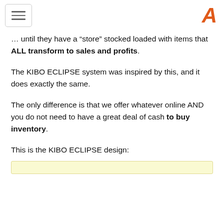… until they have a “store” stocked loaded with items that ALL transform to sales and profits.
The KIBO ECLIPSE system was inspired by this, and it does exactly the same.
The only difference is that we offer whatever online AND you do not need to have a great deal of cash to buy inventory.
This is the KIBO ECLIPSE design: